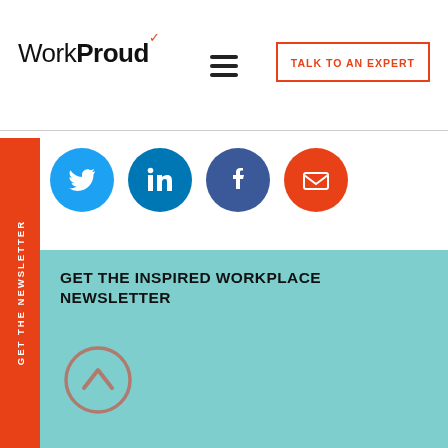[Figure (logo): WorkProud logo with checkmark icon — 'Work' in regular weight, 'Proud' in bold weight]
[Figure (other): Hamburger menu icon (three horizontal lines)]
[Figure (other): TALK TO AN EXPERT button with red border and red text]
[Figure (other): Vertical orange sidebar tab with rotated text: GET THE NEWSLETTER]
[Figure (other): Four social media circular icons: Twitter (blue), LinkedIn (blue), Facebook (dark blue), Email (red)]
GET THE INSPIRED WORKPLACE NEWSLETTER
[Figure (other): Scroll-up chevron button circle in muted rose/brown color on teal background]